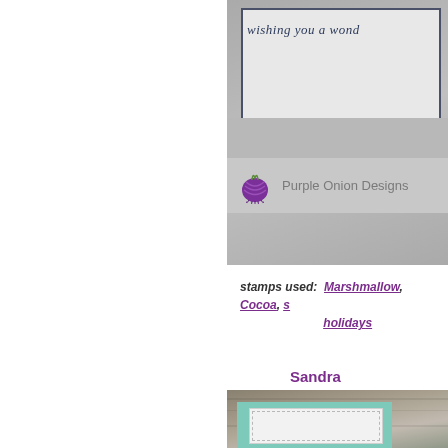[Figure (photo): Top right: greeting card with script text 'wishing you a wond...' with Purple Onion Designs logo below, displayed on grey background]
stamps used:  Marshmallow, Cocoa, ... holiday...
Sandra
[Figure (photo): Bottom right: teal and white greeting card on rustic wood background]